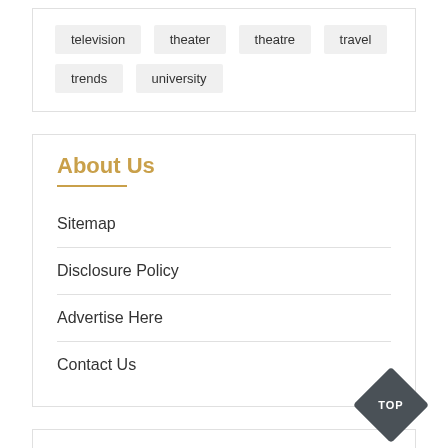television
theater
theatre
travel
trends
university
About Us
Sitemap
Disclosure Policy
Advertise Here
Contact Us
Categories